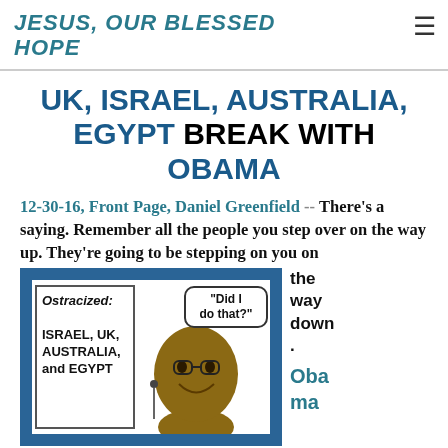JESUS, OUR BLESSED HOPE
UK, ISRAEL, AUSTRALIA, EGYPT BREAK WITH OBAMA
12-30-16, Front Page, Daniel Greenfield -- There's a saying. Remember all the people you step over on the way up. They're going to be stepping on you on the way down. Oba ma
[Figure (illustration): Illustration showing a political cartoon with text 'Ostracized: ISRAEL, UK, AUSTRALIA, and EGYPT' on the left, a caricature of Obama smiling in the center, and a speech bubble saying 'Did I do that?' on the right, all within a blue-bordered frame.]